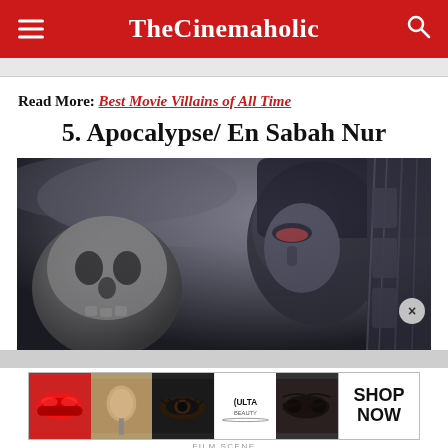TheCinemaholic
Read More: Best Movie Villains of All Time
5. Apocalypse/ En Sabah Nur
[Figure (photo): Close-up dramatic movie still of Apocalypse/En Sabah Nur character with dark armored costume, monochromatic dark tones]
[Figure (photo): Ulta Beauty advertisement banner showing makeup products and models with red lips, eye makeup, the Ulta logo, and SHOP NOW text]